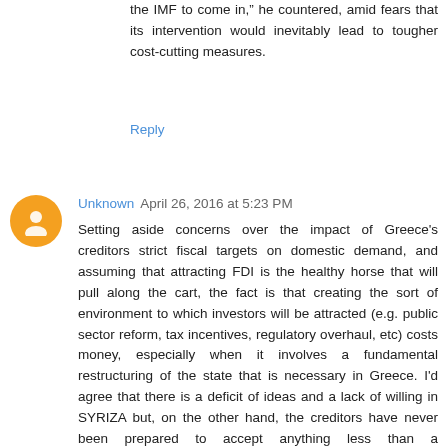the IMF to come in, he countered, amid fears that its intervention would inevitably lead to tougher cost-cutting measures.
Reply
Unknown April 26, 2016 at 5:23 PM
Setting aside concerns over the impact of Greece's creditors strict fiscal targets on domestic demand, and assuming that attracting FDI is the healthy horse that will pull along the cart, the fact is that creating the sort of environment to which investors will be attracted (e.g. public sector reform, tax incentives, regulatory overhaul, etc) costs money, especially when it involves a fundamental restructuring of the state that is necessary in Greece. I'd agree that there is a deficit of ideas and a lack of willing in SYRIZA but, on the other hand, the creditors have never been prepared to accept anything less than a comprehensive bailout programme.
Also, Mr Kastner, for whom I have a lot of respect, also appears to have fallen for the (popularly German) fallacy